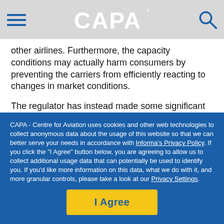CAPA
other airlines. Furthermore, the capacity conditions may actually harm consumers by preventing the carriers from efficiently reacting to changes in market conditions.
The regulator has instead made some significant changes to the routes that will have capacity and growth conditions imposed on them.
In an alternative proposal the alliance partners propose that
CAPA - Centre for Aviation uses cookies and other web technologies to collect anonymous data about the usage of this website so that we can better serve your needs in accordance with Informa's Privacy Policy. If you click the "I Agree" button below, you are agreeing to allow us to collect additional usage data that can potentially be used to identify you. If you'd like more information on this data, what we do with it, and more granular controls, please take a look at our Privacy Settings.